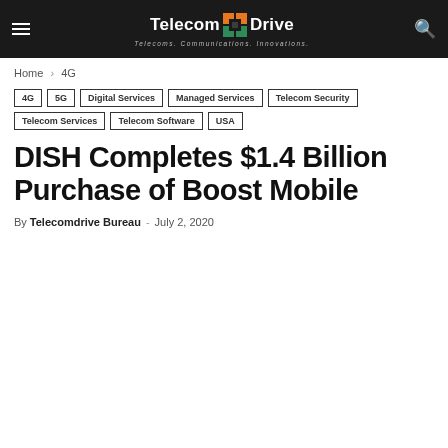Telecom Drive — Telecoms. Communications. Innovations.
Home › 4G
4G
5G
Digital Services
Managed Services
Telecom Security
Telecom Services
Telecom Software
USA
DISH Completes $1.4 Billion Purchase of Boost Mobile
By Telecomdrive Bureau - July 2, 2020